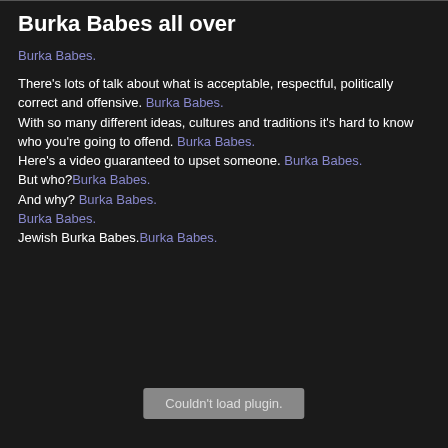Burka Babes all over
Burka Babes.
There's lots of talk about what is acceptable, respectful, politically correct and offensive. Burka Babes. With so many different ideas, cultures and traditions it's hard to know who you're going to offend. Burka Babes. Here's a video guaranteed to upset someone. Burka Babes. But who? Burka Babes. And why? Burka Babes. Burka Babes. Jewish Burka Babes. Burka Babes.
[Figure (other): Plugin error placeholder box reading 'Couldn't load plugin.']